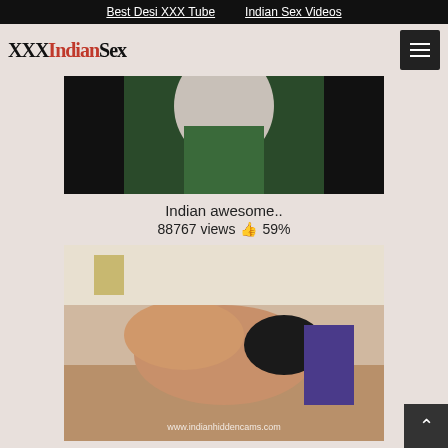Best Desi XXX Tube | Indian Sex Videos
XXXIndianSex
[Figure (screenshot): Top portion of a video thumbnail showing dark green background with a partially visible figure]
Indian awesome..
88767 views 👍 59%
[Figure (screenshot): Second video thumbnail showing two people on a bed, watermark reads www.indianhiddencams.com]